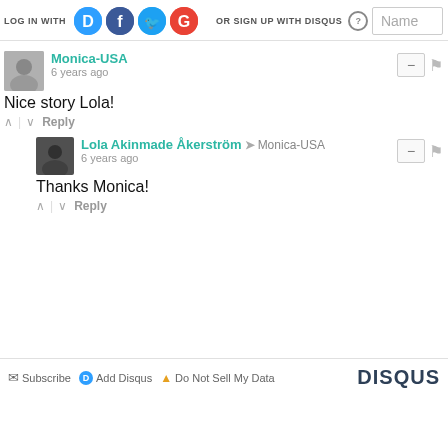LOG IN WITH
OR SIGN UP WITH DISQUS
[Figure (screenshot): Social login icons: Disqus (blue D), Facebook (blue f), Twitter (blue bird), Google (red G)]
Name (input field placeholder)
Monica-USA
6 years ago
Nice story Lola!
Reply
Lola Akinmade Åkerström → Monica-USA
6 years ago
Thanks Monica!
Reply
Subscribe  Add Disqus  Do Not Sell My Data  DISQUS